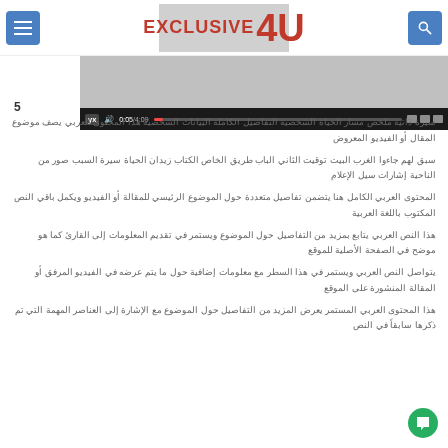Exclusive4U website header with menu, logo, and search buttons
[Figure (screenshot): Embedded video player showing Exclusive4U logo with video controls bar showing 0:05/4:09 timestamp]
5
Arabic language text paragraph content about video or article topic displayed in right-to-left layout across multiple lines